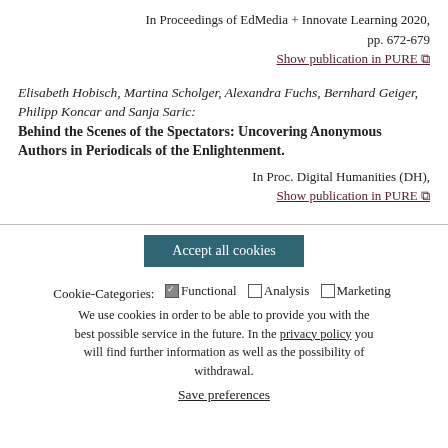In Proceedings of EdMedia + Innovate Learning 2020, pp. 672-679
Show publication in PURE
Elisabeth Hobisch, Martina Scholger, Alexandra Fuchs, Bernhard Geiger, Philipp Koncar and Sanja Saric: Behind the Scenes of the Spectators: Uncovering Anonymous Authors in Periodicals of the Enlightenment.
In Proc. Digital Humanities (DH),
Show publication in PURE
Accept all cookies
Cookie-Categories: Functional Analysis Marketing
We use cookies in order to be able to provide you with the best possible service in the future. In the privacy policy you will find further information as well as the possibility of withdrawal.
Save preferences